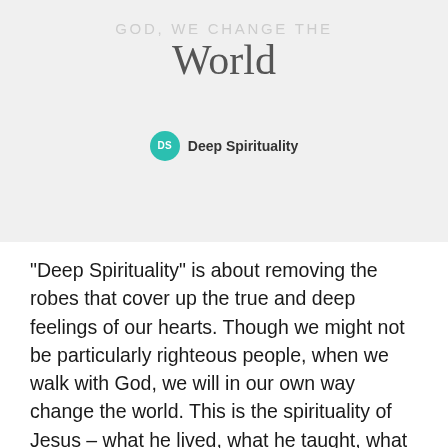[Figure (illustration): Light gray background image with text overlay. Upper portion shows spaced letter text 'GOD, WE CHANGE THE' in light gray, with 'World' in cursive script below it. A teal circular logo badge with 'DS' and the label 'Deep Spirituality' appears near the bottom.]
“Deep Spirituality” is about removing the robes that cover up the true and deep feelings of our hearts. Though we might not be particularly righteous people, when we walk with God, we will in our own way change the world. This is the spirituality of Jesus – what he lived, what he taught, what he promises us, and what he expects from us (John